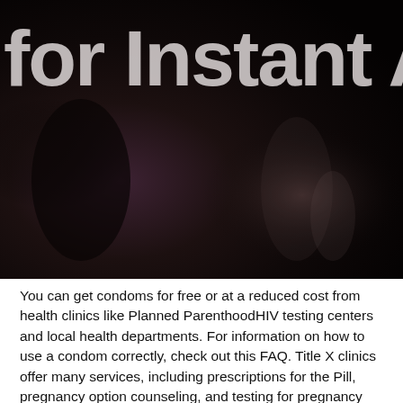[Figure (photo): Dark background photo with overlaid large white bold text reading 'for Instant Ac' (partially cropped). The image shows a very dark, nearly black scene with subtle shapes and shadows visible.]
You can get condoms for free or at a reduced cost from health clinics like Planned ParenthoodHIV testing centers and local health departments. For information on how to use a condom correctly, check out this FAQ. Title X clinics offer many services, including prescriptions for the Pill, pregnancy option counseling, and testing for pregnancy and sexually transmitted diseases and infections, including HIV. If you want a Title X clinic near you, it will